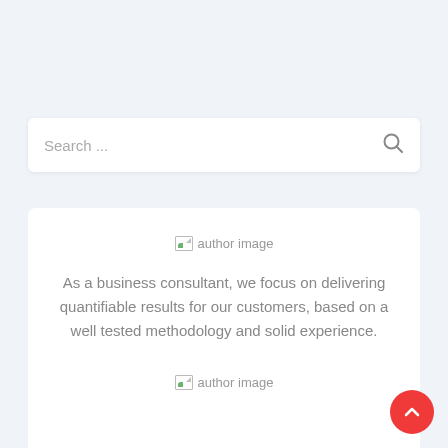[Figure (screenshot): Search bar with placeholder text 'Search ...' and a search icon on the right, on a light blue-grey background]
[Figure (illustration): Broken image placeholder labeled 'author image']
As a business consultant, we focus on delivering quantifiable results for our customers, based on a well tested methodology and solid experience.
[Figure (illustration): Broken image placeholder labeled 'author image']